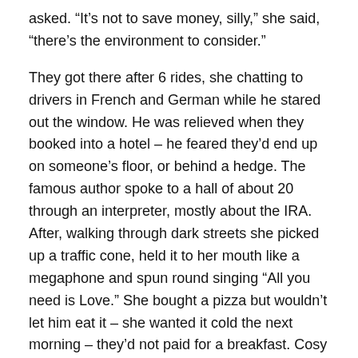asked. “It’s not to save money, silly,” she said, “there’s the environment to consider.”
They got there after 6 rides, she chatting to drivers in French and German while he stared out the window. He was relieved when they booked into a hotel – he feared they’d end up on someone’s floor, or behind a hedge. The famous author spoke to a hall of about 20 through an interpreter, mostly about the IRA. After, walking through dark streets she picked up a traffic cone, held it to her mouth like a megaphone and spun round singing “All you need is Love.” She bought a pizza but wouldn’t let him eat it – she wanted it cold the next morning – they’d not paid for a breakfast. Cosy in bed that night he plucked up the courage to say that he wanted to learn more about her.
“So what do you want to know?” she said, rolling a cigarette with papers and tobacco she’d just bought. He’d